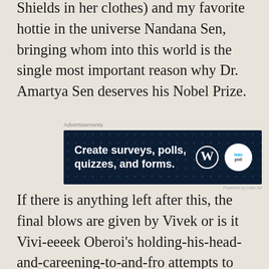Shields in her clothes) and my favorite hottie in the universe Nandana Sen, bringing whom into this world is the single most important reason why Dr. Amartya Sen deserves his Nobel Prize.
[Figure (other): Advertisement banner for WordPress survey/poll/quiz/form creation tool. Dark navy background with white bold text 'Create surveys, polls, quizzes, and forms.' with WordPress logo and a circular poll badge on the right.]
If there is anything left after this, the final blows are given by Vivek or is it Vivi-eeeek Oberoi's holding-his-head-and-careening-to-and-fro attempts to act, which makes even